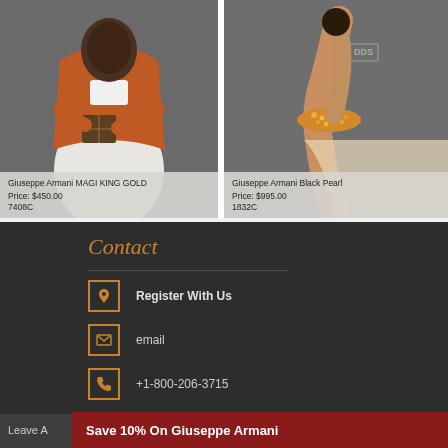[Figure (photo): Giuseppe Armani MAGI KING GOLD figurine - a figure in orange/red robe holding a gift box]
Giuseppe Armani MAGI KING GOLD
Price: $450.00
7408C
[Figure (photo): Giuseppe Armani Black Pearl figurine - a dancer figure with gold/orange sequined top]
Giuseppe Armani Black Pearl
Price: $995.00
1832C
Contact
Register With Us
email
+1-800-206-3715
Leave A
Save 10% On Giuseppe Armani